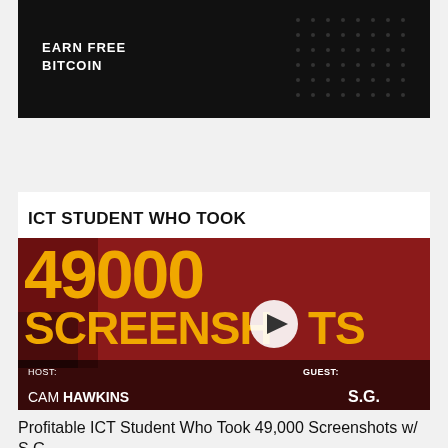[Figure (screenshot): Dark banner advertisement with text EARN FREE BITCOIN on black background with decorative pattern]
[Figure (screenshot): YouTube video thumbnail: ICT STUDENT WHO TOOK 49000 SCREENSHOTS. Host: CAM HAWKINS, Guest: S.G. Red background with large gold text. TN logo top right. Play button in center.]
Profitable ICT Student Who Took 49,000 Screenshots w/ S G